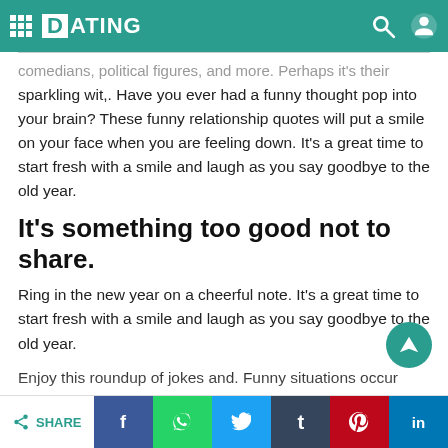DATING
comedians, political figures, and more. Perhaps it's their sparkling wit,. Have you ever had a funny thought pop into your brain? These funny relationship quotes will put a smile on your face when you are feeling down. It's a great time to start fresh with a smile and laugh as you say goodbye to the old year.
It's something too good not to share.
Ring in the new year on a cheerful note. It's a great time to start fresh with a smile and laugh as you say goodbye to the old year.
Enjoy this roundup of jokes and. Funny situations occur when you have complicated relationships. To welcome your partner or loved one to the golden years, consider these funny retirement quotes that articulate your sentiment. Here's